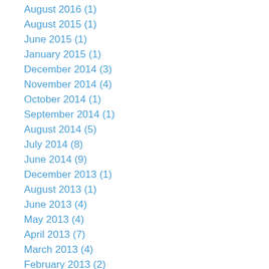August 2016 (1)
August 2015 (1)
June 2015 (1)
January 2015 (1)
December 2014 (3)
November 2014 (4)
October 2014 (1)
September 2014 (1)
August 2014 (5)
July 2014 (8)
June 2014 (9)
December 2013 (1)
August 2013 (1)
June 2013 (4)
May 2013 (4)
April 2013 (7)
March 2013 (4)
February 2013 (2)
January 2013 (8)
December 2012 (3)